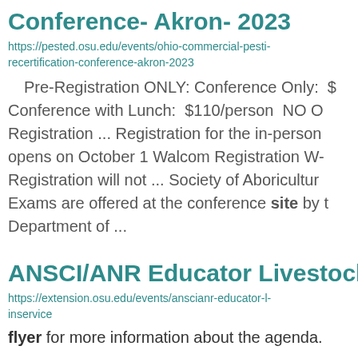Conference- Akron- 2023
https://pested.osu.edu/events/ohio-commercial-pesti-recertification-conference-akron-2023
Pre-Registration ONLY: Conference Only:  $
Conference with Lunch:  $110/person  NO O
Registration ... Registration for the in-person
opens on October 1 Walcom Registration W-
Registration will not ... Society of Aboricultur
Exams are offered at the conference site by t
Department of ...
ANSCI/ANR Educator Livestock Inser
https://extension.osu.edu/events/anscianr-educator-l-inservice
flyer for more information about the agenda.